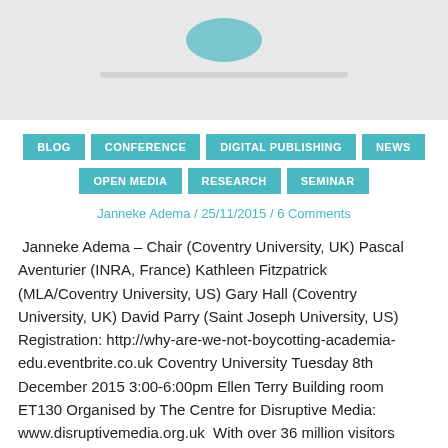[Figure (photo): Banner image at the top of the page, light grey background with partial logo/image visible]
BLOG
CONFERENCE
DIGITAL PUBLISHING
NEWS
OPEN MEDIA
RESEARCH
SEMINAR
Janneke Adema / 25/11/2015 / 6 Comments
Janneke Adema – Chair (Coventry University, UK) Pascal Aventurier (INRA, France) Kathleen Fitzpatrick (MLA/Coventry University, US) Gary Hall (Coventry University, UK) David Parry (Saint Joseph University, US) Registration: http://why-are-we-not-boycotting-academia-edu.eventbrite.co.uk Coventry University Tuesday 8th December 2015 3:00-6:00pm Ellen Terry Building room ET130 Organised by The Centre for Disruptive Media: www.disruptivemedia.org.uk  With over 36 million visitors each…